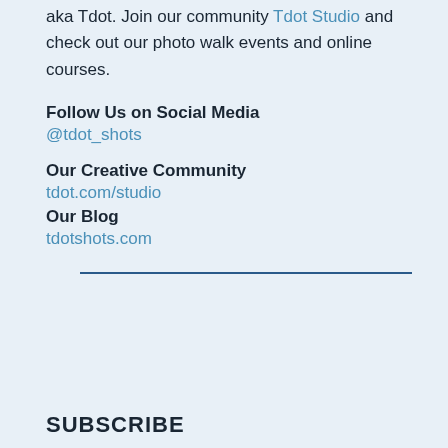aka Tdot. Join our community Tdot Studio and check out our photo walk events and online courses.
Follow Us on Social Media
@tdot_shots
Our Creative Community
tdot.com/studio
Our Blog
tdotshots.com
SUBSCRIBE